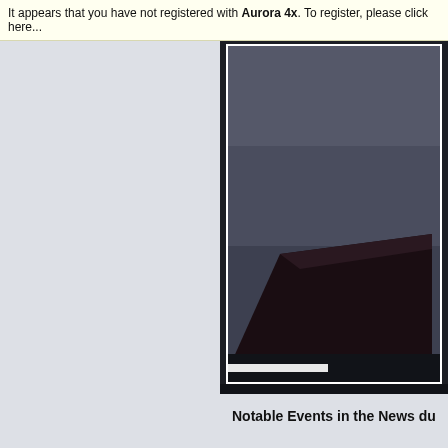It appears that you have not registered with Aurora 4x. To register, please click here...
[Figure (photo): Dark photograph showing a dark box or object against a dark gray/stormy background, shown in a framed display panel on the right side of the page]
Notable Events in the News du